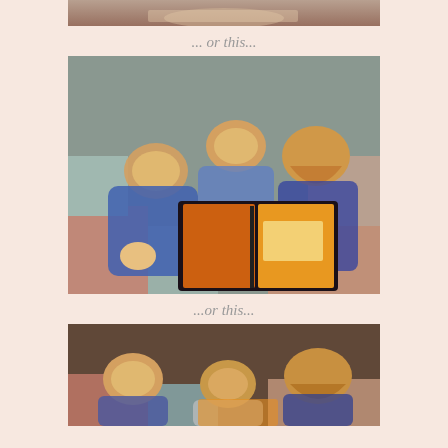[Figure (photo): Partial/cropped photo at top of page showing children reading a book]
... or this...
[Figure (photo): Three red-haired children lying on a patterned quilt/carpet reading a colorful book together, smiling]
...or this...
[Figure (photo): Group of red-haired children lying on a patterned quilt looking at a book]